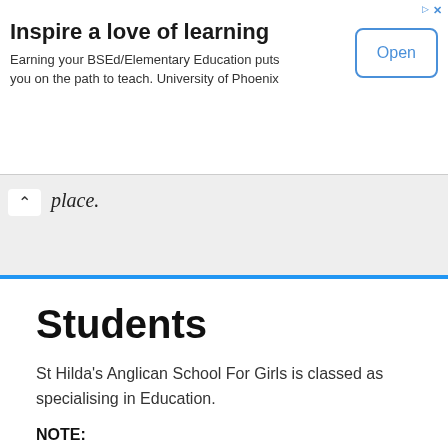[Figure (other): Advertisement banner: 'Inspire a love of learning' - Earning your BSEd/Elementary Education puts you on the path to teach. University of Phoenix. Open button.]
place.
Students
St Hilda's Anglican School For Girls is classed as specialising in Education.
NOTE:
A primary school is an institution that typically caters towards students of the ages between 5 and 12. Traditional Primary schools run levels between Prep and Grade 6.